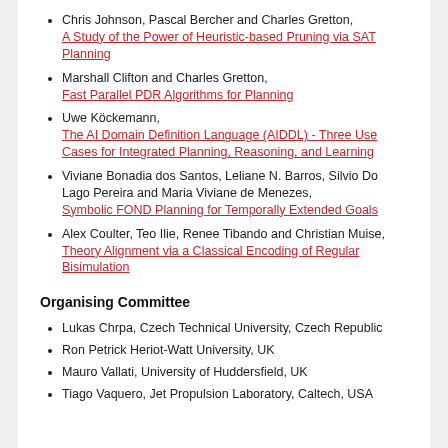Chris Johnson, Pascal Bercher and Charles Gretton, A Study of the Power of Heuristic-based Pruning via SAT Planning
Marshall Clifton and Charles Gretton, Fast Parallel PDR Algorithms for Planning
Uwe Köckemann, The AI Domain Definition Language (AIDDL) - Three Use Cases for Integrated Planning, Reasoning, and Learning
Viviane Bonadia dos Santos, Leliane N. Barros, Silvio Do Lago Pereira and Maria Viviane de Menezes, Symbolic FOND Planning for Temporally Extended Goals
Alex Coulter, Teo Ilie, Renee Tibando and Christian Muise, Theory Alignment via a Classical Encoding of Regular Bisimulation
Organising Committee
Lukas Chrpa, Czech Technical University, Czech Republic
Ron Petrick Heriot-Watt University, UK
Mauro Vallati, University of Huddersfield, UK
Tiago Vaquero, Jet Propulsion Laboratory, Caltech, USA